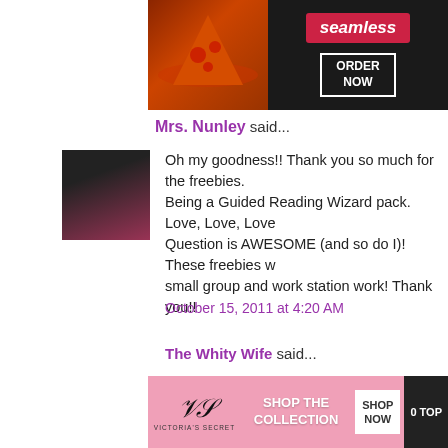[Figure (screenshot): Seamless food delivery advertisement banner with pizza image, seamless logo in red, and ORDER NOW button]
Mrs. Nunley said...
Oh my goodness!! Thank you so much for the freebies. Being a Guided Reading Wizard pack. Love, Love, Love Question is AWESOME (and so do I)! These freebies w small group and work station work! Thank you!!
October 15, 2011 at 4:20 AM
The Whity Wife said...
CCSS is crazy! Our district is beginning to implement it– year, and next year we will be doing it full out. Right no and deconstructing each standard, creating assessmen together around our district's curriculum (which btw- th frustrated by the CCSS- and so thankf have some
[Figure (screenshot): Victoria's Secret advertisement with model, VS logo, SHOP THE COLLECTION text, SHOP NOW button, and CLOSE button overlay]